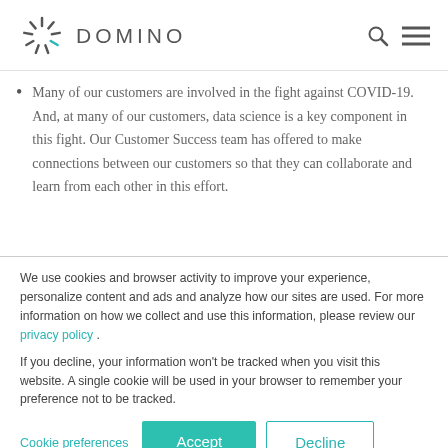DOMINO
Many of our customers are involved in the fight against COVID-19. And, at many of our customers, data science is a key component in this fight. Our Customer Success team has offered to make connections between our customers so that they can collaborate and learn from each other in this effort.
We use cookies and browser activity to improve your experience, personalize content and ads and analyze how our sites are used. For more information on how we collect and use this information, please review our privacy policy .
If you decline, your information won't be tracked when you visit this website. A single cookie will be used in your browser to remember your preference not to be tracked.